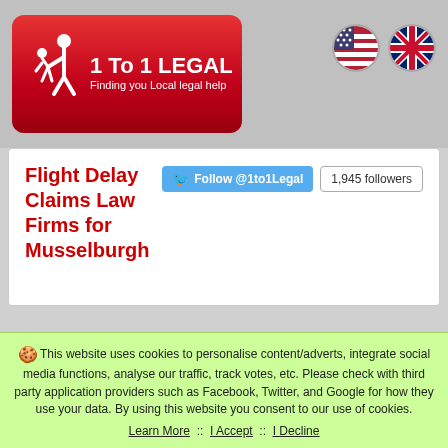[Figure (logo): 1 To 1 LEGAL logo with red rounded rectangle background, silhouette of person helping another, text '1 To 1 LEGAL' and 'Finding you Local legal help']
[Figure (illustration): US flag circle and UK flag circle in top right corner]
Flight Delay Claims Law Firms for Musselburgh
Follow @1to1Legal  1,945 followers
This website uses cookies to personalise content/adverts, integrate social media functions, analyse our traffic, track votes, etc. Please check with third party application providers such as Facebook, Twitter, and Google for how they use your data. By using this website you consent to our use of cookies. Learn More  ::  I Accept  ::  I Decline